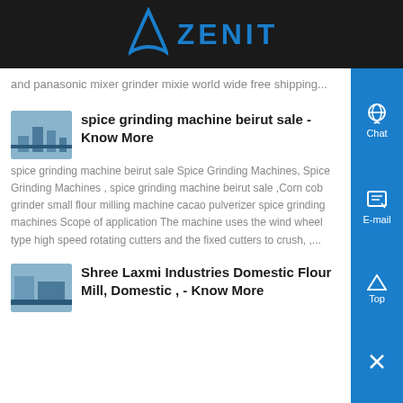ZENIT
and panasonic mixer grinder mixie world wide free shipping...
spice grinding machine beirut sale - Know More
spice grinding machine beirut sale Spice Grinding Machines, Spice Grinding Machines , spice grinding machine beirut sale ,Corn cob grinder small flour milling machine cacao pulverizer spice grinding machines Scope of application The machine uses the wind wheel type high speed rotating cutters and the fixed cutters to crush, ,...
Shree Laxmi Industries Domestic Flour Mill, Domestic , - Know More